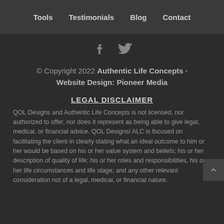Tools  Testimonials  Blog  Contact
[Figure (other): Social media icons: Facebook and Twitter]
© Copyright 2022 Authentic Life Concepts · Website Design: Pioneer Media
LEGAL DISCLAIMER
QOL Designs and Authentic Life Concepts is not licensed, nor authorized to offer, nor does it represent as being able to give legal, medical, or financial advice. QOL Designs/ ALC is focused on facilitating the client in clearly stating what an ideal outcome to him or her would be based on his or her value system and beliefs; his or her description of quality of life; his or her roles and responsibilities, his or her life circumstances and life stage; and any other relevant consideration not of a legal, medical, or financial nature.